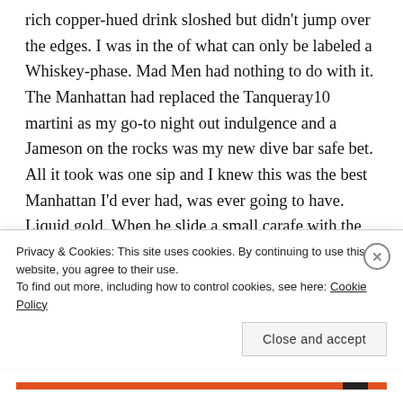rich copper-hued drink sloshed but didn't jump over the edges. I was in the of what can only be labeled a Whiskey-phase. Mad Men had nothing to do with it. The Manhattan had replaced the Tanqueray10 martini as my go-to night out indulgence and a Jameson on the rocks was my new dive bar safe bet. All it took was one sip and I knew this was the best Manhattan I'd ever had, was ever going to have. Liquid gold. When he slide a small carafe with the “leftovers” from the shaker (the equivalent of a second drink), I figured I was satisfyingly set for the night.
Privacy & Cookies: This site uses cookies. By continuing to use this website, you agree to their use.
To find out more, including how to control cookies, see here: Cookie Policy
Close and accept